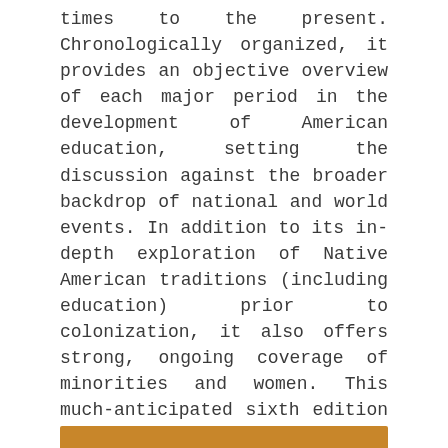times to the present. Chronologically organized, it provides an objective overview of each major period in the development of American education, setting the discussion against the broader backdrop of national and world events. In addition to its in-depth exploration of Native American traditions (including education) prior to colonization, it also offers strong, ongoing coverage of minorities and women. This much-anticipated sixth edition brings heightened attention to the history of education of individuals with disabilities, of classroom pedagogy and technology, of teachers and teacher leaders, and of educational developments and controversies of the twenty-first century.
[Figure (other): Orange/golden decorative bar at the bottom of the page]